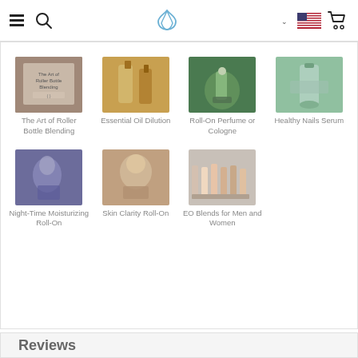Navigation header with hamburger menu, search, logo, language/flag selector, cart
[Figure (photo): The Art of Roller Bottle Blending - book/guide thumbnail]
The Art of Roller Bottle Blending
[Figure (photo): Essential Oil Dilution - bottles thumbnail]
Essential Oil Dilution
[Figure (photo): Roll-On Perfume or Cologne - hand with bottle thumbnail]
Roll-On Perfume or Cologne
[Figure (photo): Healthy Nails Serum - nail care thumbnail]
Healthy Nails Serum
[Figure (photo): Night-Time Moisturizing Roll-On - woman applying oil thumbnail]
Night-Time Moisturizing Roll-On
[Figure (photo): Skin Clarity Roll-On - woman face thumbnail]
Skin Clarity Roll-On
[Figure (photo): EO Blends for Men and Women - rollers row thumbnail]
EO Blends for Men and Women
Reviews